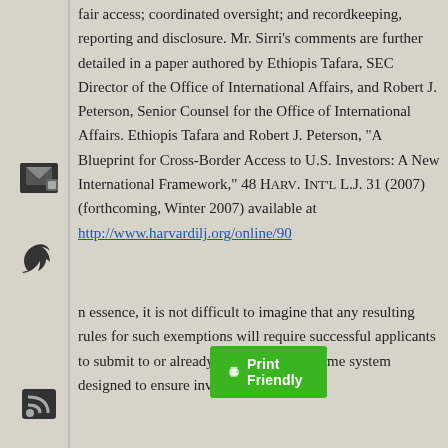fair access; coordinated oversight; and recordkeeping, reporting and disclosure. Mr. Sirri's comments are further detailed in a paper authored by Ethiopis Tafara, SEC Director of the Office of International Affairs, and Robert J. Peterson, Senior Counsel for the Office of International Affairs. Ethiopis Tafara and Robert J. Peterson, "A Blueprint for Cross-Border Access to U.S. Investors: A New International Framework," 48 Harv. Int'l L.J. 31 (2007) (forthcoming, Winter 2007) available at http://www.harvardilj.org/online/90
In essence, it is not difficult to imagine that any resulting rules for such exemptions will require successful applicants to submit to or already be governed by some system designed to ensure investor protection.
[Figure (other): Print Friendly button - green button with printer icon]